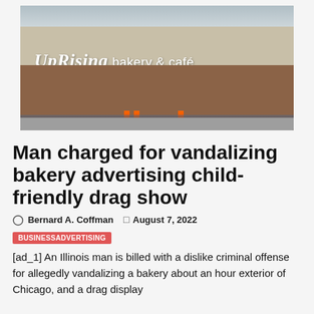[Figure (photo): Exterior of UpRising bakery & cafe with a boarded-up window, orange safety cones, and the store sign visible on the facade.]
Man charged for vandalizing bakery advertising child-friendly drag show
Bernard A. Coffman   August 7, 2022
BUSINESSADVERTISING
[ad_1] An Illinois man is billed with a dislike criminal offense for allegedly vandalizing a bakery about an hour exterior of Chicago, and a drag display